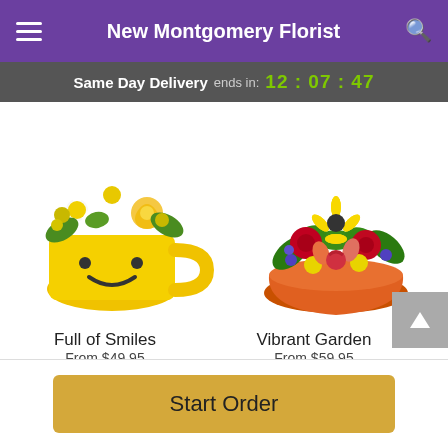New Montgomery Florist
Same Day Delivery ends in: 12:07:47
[Figure (photo): Yellow smiley-face mug with white daisies, yellow roses, and green flowers arrangement]
[Figure (photo): Orange bowl with vibrant mixed arrangement of yellow, red, orange, purple flowers and greenery]
Full of Smiles
From $49.95
Vibrant Garden
From $59.95
Start Order